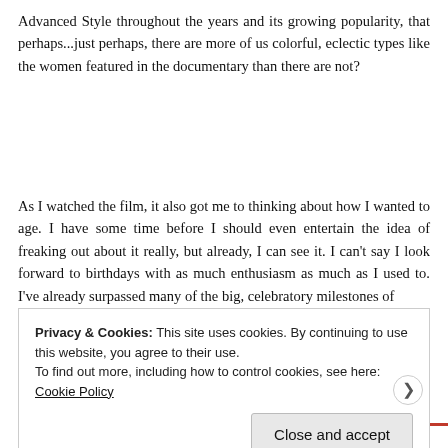Advanced Style throughout the years and its growing popularity, that perhaps...just perhaps, there are more of us colorful, eclectic types like the women featured in the documentary than there are not?
As I watched the film, it also got me to thinking about how I wanted to age. I have some time before I should even entertain the idea of freaking out about it really, but already, I can see it. I can't say I look forward to birthdays with as much enthusiasm as much as I used to. I've already surpassed many of the big, celebratory milestones of
Privacy & Cookies: This site uses cookies. By continuing to use this website, you agree to their use.
To find out more, including how to control cookies, see here: Cookie Policy